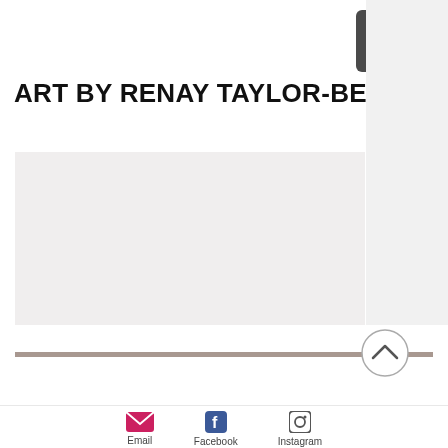ART BY RENAY TAYLOR-BESANT
[Figure (screenshot): Website screenshot showing art portfolio page header with hamburger menu button, site title, main content image placeholder area, back-to-top button, and social media footer icons for Email, Facebook, and Instagram]
Email  Facebook  Instagram